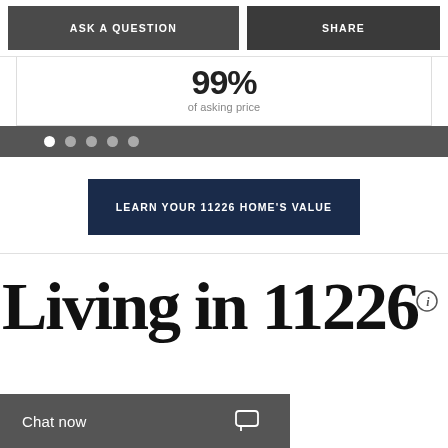ASK A QUESTION
SHARE
99%
of asking price
LEARN YOUR 11226 HOME'S VALUE
Living in 11226
Chat now